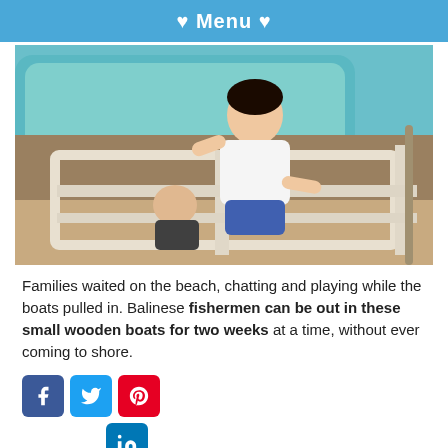♥ Menu ♥
[Figure (photo): A young Balinese girl in a white t-shirt and blue shorts stands in a weathered white wooden boat frame on a beach, with a turquoise boat hull visible in the background.]
Families waited on the beach, chatting and playing while the boats pulled in. Balinese fishermen can be out in these small wooden boats for two weeks at a time, without ever coming to shore.
[Figure (other): Social media share buttons: Facebook, Twitter, Pinterest (row 1), LinkedIn (row 2, centered under Pinterest)]